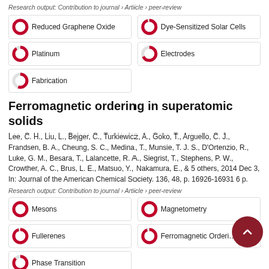Research output: Contribution to journal › Article › peer-review
Reduced Graphene Oxide
Dye-Sensitized Solar Cells
Platinum
Electrodes
Fabrication
Ferromagnetic ordering in superatomic solids
Lee, C. H., Liu, L., Bejger, C., Turkiewicz, A., Goko, T., Arguello, C. J., Frandsen, B. A., Cheung, S. C., Medina, T., Munsie, T. J. S., D'Ortenzio, R., Luke, G. M., Besara, T., Lalancette, R. A., Siegrist, T., Stephens, P. W., Crowther, A. C., Brus, L. E., Matsuo, Y., Nakamura, E., & 5 others, 2014 Dec 3, In: Journal of the American Chemical Society. 136, 48, p. 16926-16931 6 p.
Research output: Contribution to journal › Article › peer-review
Mesons
Magnetometry
Fullerenes
Ferromagnetic Ordering
Phase Transition